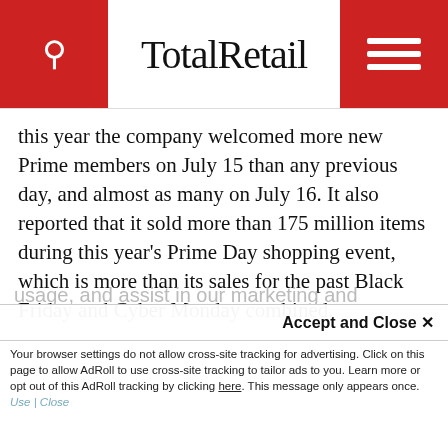TotalRetail
this year the company welcomed more new Prime members on July 15 than any previous day, and almost as many on July 16. It also reported that it sold more than 175 million items during this year's Prime Day shopping event, which is more than its sales for the past Black Friday and Cyber Monday combined.
This site uses cookies for tracking purposes. By continuing to browse our website, you agree to the storing of first- and third-party cookies on your device to enhance site navigation, analyze site usage, and assist in our marketing and
Accept and Close ✕
Your browser settings do not allow cross-site tracking for advertising. Click on this page to allow AdRoll to use cross-site tracking to tailor ads to you. Learn more or opt out of this AdRoll tracking by clicking here. This message only appears once.